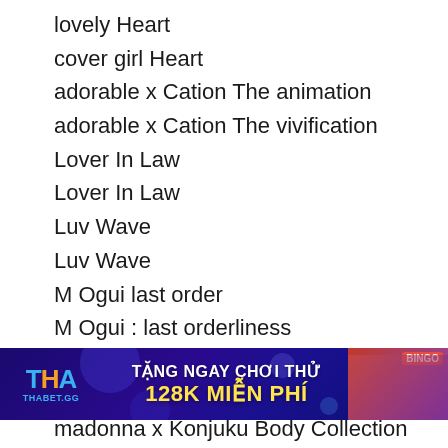lovely Heart
cover girl Heart
adorable x Cation The animation
adorable x Cation The vivification
Lover In Law
Lover In Law
Luv Wave
Luv Wave
M Ogui last order
M Ogui : last orderliness
Ma gallium Ochiru Yoru
Ma tabun Ochiru Yoru
Machi Gurumi no Wana Hakudaku ni Mamireta Shitai
Machi Gurumi no Wana : Hakudaku ni
[Figure (screenshot): Advertisement banner for THABET.GG gambling site. Blue/purple background with 'THA THABET.GG' logo in blue and orange, text 'TẶNG NGAY CHƠI THỬ 128K MIỄN PHÍ' in white and yellow, with women and BINGO imagery on the right.]
madonna x Konjuku Body Collection